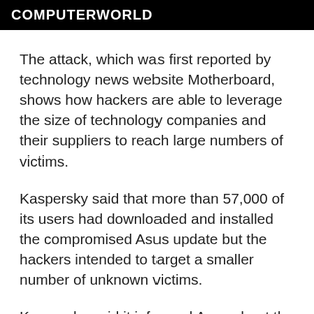COMPUTERWORLD
The attack, which was first reported by technology news website Motherboard, shows how hackers are able to leverage the size of technology companies and their suppliers to reach large numbers of victims.
Kaspersky said that more than 57,000 of its users had downloaded and installed the compromised Asus update but the hackers intended to target a smaller number of unknown victims.
Kaspersky said it informed Asus about the attack in January and was assisting the company with its